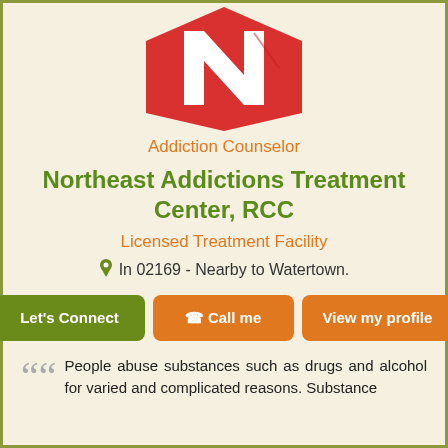[Figure (logo): Northeast Addictions Treatment Center logo — red hexagon shape with white letter N]
Addiction Counselor
Northeast Addictions Treatment Center, RCC
Licensed Treatment Facility
In 02169 - Nearby to Watertown.
Let's Connect   Call me   View my profile
People abuse substances such as drugs and alcohol for varied and complicated reasons. Substance